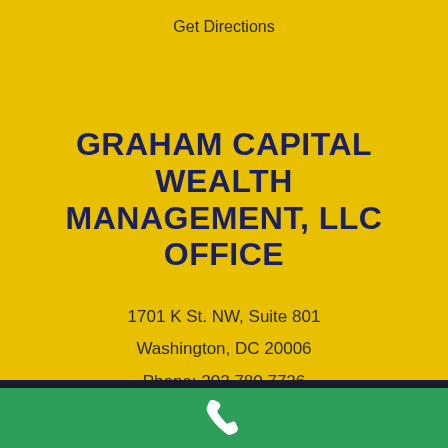Get Directions
GRAHAM CAPITAL WEALTH MANAGEMENT, LLC OFFICE
1701 K St. NW, Suite 801
Washington, DC 20006
Phone: 202.780.7726
Get Directions
[Figure (illustration): White phone handset icon on green background bar at bottom of page]